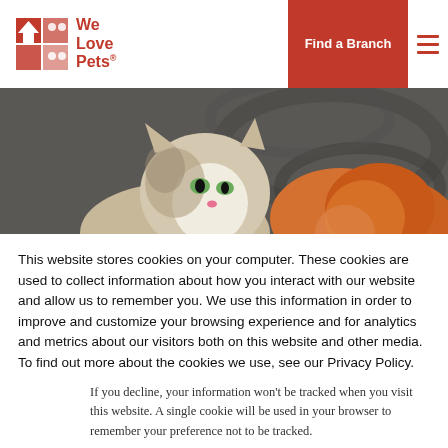[Figure (logo): We Love Pets logo with house/paw icon and red text]
[Figure (photo): Two cats sitting together against a dark wood background — one tabby/white cat facing the camera and one orange cat curled beside it]
This website stores cookies on your computer. These cookies are used to collect information about how you interact with our website and allow us to remember you. We use this information in order to improve and customize your browsing experience and for analytics and metrics about our visitors both on this website and other media. To find out more about the cookies we use, see our Privacy Policy.
If you decline, your information won't be tracked when you visit this website. A single cookie will be used in your browser to remember your preference not to be tracked.